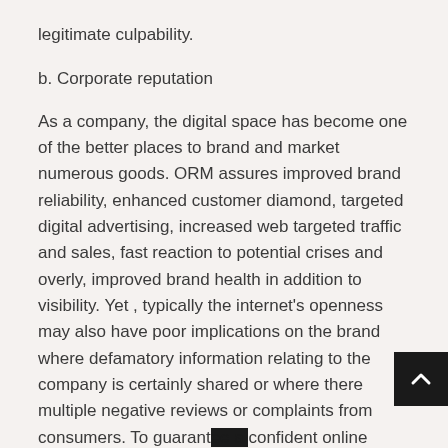legitimate culpability.
b. Corporate reputation
As a company, the digital space has become one of the better places to brand and market numerous goods. ORM assures improved brand reliability, enhanced customer diamond, targeted digital advertising, increased web targeted traffic and sales, fast reaction to potential crises and overly, improved brand health in addition to visibility. Yet , typically the internet's openness may also have poor implications on the brand where defamatory information relating to the company is certainly shared or where there multiple negative reviews or complaints from consumers. To guarantee a confident online reputation, a company must know the law and invest in ORM support.